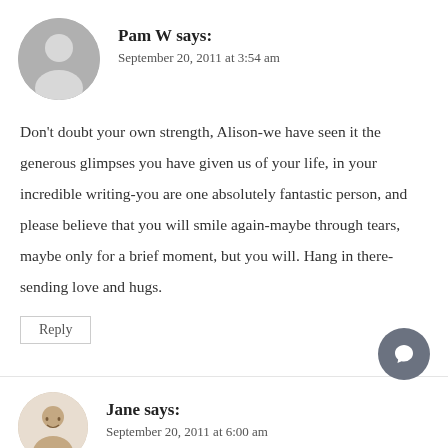Pam W says:
September 20, 2011 at 3:54 am
Don't doubt your own strength, Alison-we have seen it the generous glimpses you have given us of your life, in your incredible writing-you are one absolutely fantastic person, and please believe that you will smile again-maybe through tears, maybe only for a brief moment, but you will. Hang in there-sending love and hugs.
Reply
Jane says:
September 20, 2011 at 6:00 am